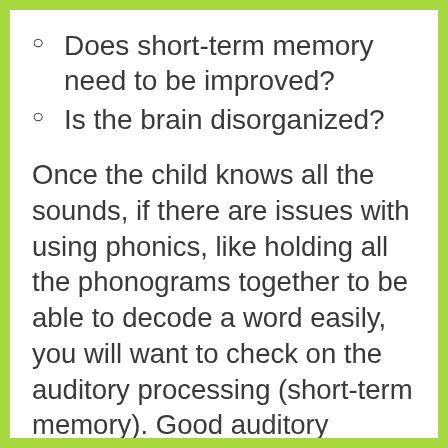Does short-term memory need to be improved?
Is the brain disorganized?
Once the child knows all the sounds, if there are issues with using phonics, like holding all the phonograms together to be able to decode a word easily, you will want to check on the auditory processing (short-term memory). Good auditory processing is the essential prerequisite to being able to read with a phonics approach. This topic is too lengthy to enter into